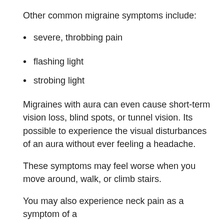Other common migraine symptoms include:
severe, throbbing pain
flashing light
strobing light
Migraines with aura can even cause short-term vision loss, blind spots, or tunnel vision. Its possible to experience the visual disturbances of an aura without ever feeling a headache.
These symptoms may feel worse when you move around, walk, or climb stairs.
You may also experience neck pain as a symptom of a